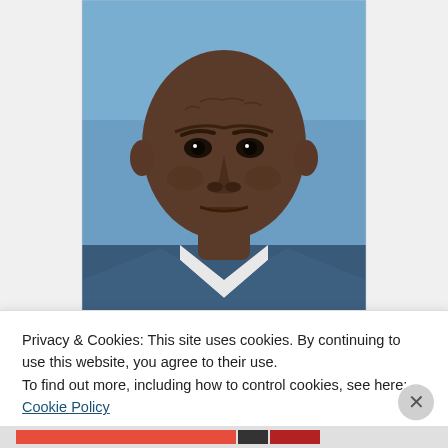[Figure (photo): Mugshot-style photograph of Darren Rainey, a Black man wearing a blue prison uniform with white undershirt, looking directly at camera against a blue background]
Only Florida taxpayers have been held accountable for Darren Rainey's 2012 scalding homicide, and they didn't do it
Privacy & Cookies: This site uses cookies. By continuing to use this website, you agree to their use.
To find out more, including how to control cookies, see here: Cookie Policy